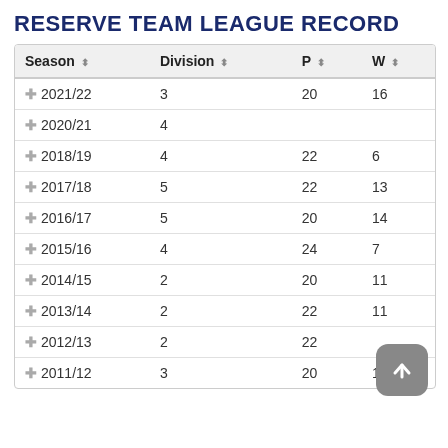RESERVE TEAM LEAGUE RECORD
| Season | Division | P | W |
| --- | --- | --- | --- |
| + 2021/22 | 3 | 20 | 16 |
| + 2020/21 | 4 |  |  |
| + 2018/19 | 4 | 22 | 6 |
| + 2017/18 | 5 | 22 | 13 |
| + 2016/17 | 5 | 20 | 14 |
| + 2015/16 | 4 | 24 | 7 |
| + 2014/15 | 2 | 20 | 11 |
| + 2013/14 | 2 | 22 | 11 |
| + 2012/13 | 2 | 22 |  |
| + 2011/12 | 3 | 20 | 16 |